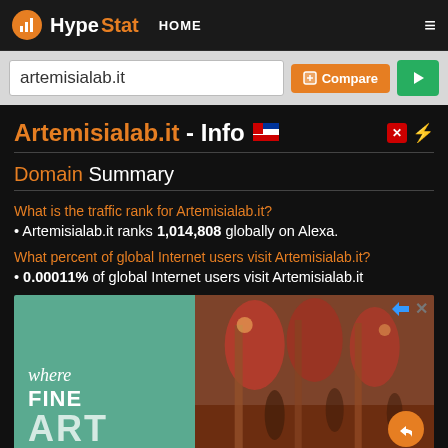HypeStat HOME ≡
artemisialab.it Compare ▶
Artemisialab.it - Info
Domain Summary
What is the traffic rank for Artemisialab.it?
• Artemisialab.it ranks 1,014,808 globally on Alexa.
What percent of global Internet users visit Artemisialab.it?
• 0.00011% of global Internet users visit Artemisialab.it
[Figure (photo): Advertisement banner showing 'where FINE ART' text on teal background with art gallery interior image on right side]